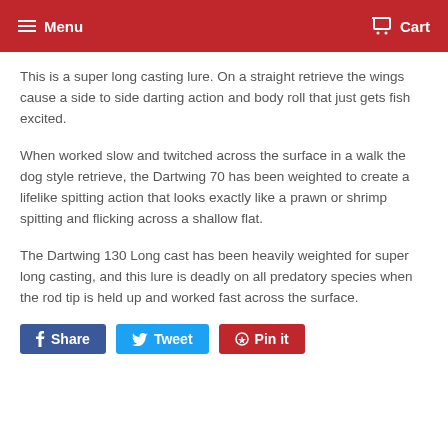Menu  Cart
This is a super long casting lure. On a straight retrieve the wings cause a side to side darting action and body roll that just gets fish excited.
When worked slow and twitched across the surface in a walk the dog style retrieve, the Dartwing 70 has been weighted to create a lifelike spitting action that looks exactly like a prawn or shrimp spitting and flicking across a shallow flat.
The Dartwing 130 Long cast has been heavily weighted for super long casting, and this lure is deadly on all predatory species when the rod tip is held up and worked fast across the surface.
Share  Tweet  Pin it